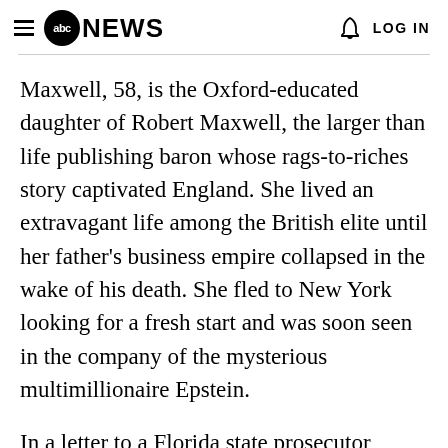abc NEWS   LOG IN
Maxwell, 58, is the Oxford-educated daughter of Robert Maxwell, the larger than life publishing baron whose rags-to-riches story captivated England. She lived an extravagant life among the British elite until her father's business empire collapsed in the wake of his death. She fled to New York looking for a fresh start and was soon seen in the company of the mysterious multimillionaire Epstein.
In a letter to a Florida state prosecutor related to Epstein's 2008 guilty plea, Epstein's attorneys describe his relationship with